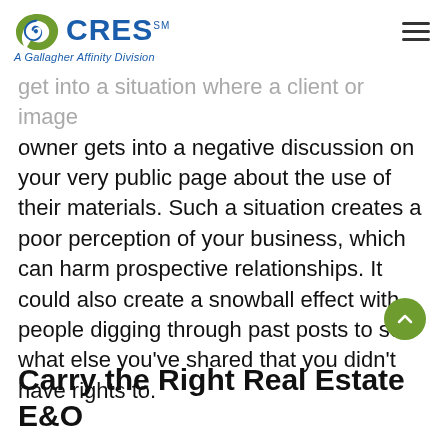CRES℠ — A Gallagher Affinity Division
get into a situation where a client or image owner gets into a negative discussion on your very public page about the use of their materials. Such a situation creates a poor perception of your business, which can harm prospective relationships. It could also create a snowball effect with people digging through past posts to see what else you've shared that you didn't have rights to.
Carry the Right Real Estate E&O